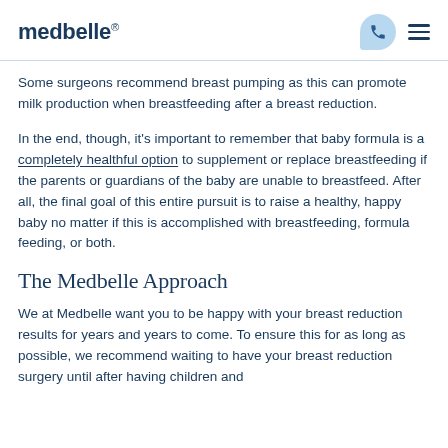medbelle®
Some surgeons recommend breast pumping as this can promote milk production when breastfeeding after a breast reduction.
In the end, though, it's important to remember that baby formula is a completely healthful option to supplement or replace breastfeeding if the parents or guardians of the baby are unable to breastfeed. After all, the final goal of this entire pursuit is to raise a healthy, happy baby no matter if this is accomplished with breastfeeding, formula feeding, or both.
The Medbelle Approach
We at Medbelle want you to be happy with your breast reduction results for years and years to come. To ensure this for as long as possible, we recommend waiting to have your breast reduction surgery until after having children and